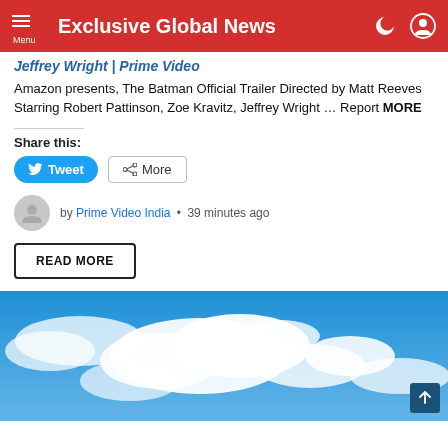Exclusive Global News
Jeffrey Wright | Prime Video
Amazon presents, The Batman Official Trailer Directed by Matt Reeves Starring Robert Pattinson, Zoe Kravitz, Jeffrey Wright … Report MORE
Share this:
Tweet   More
by Prime Video India • 39 minutes ago
READ MORE
[Figure (photo): Blue sky with white clouds]